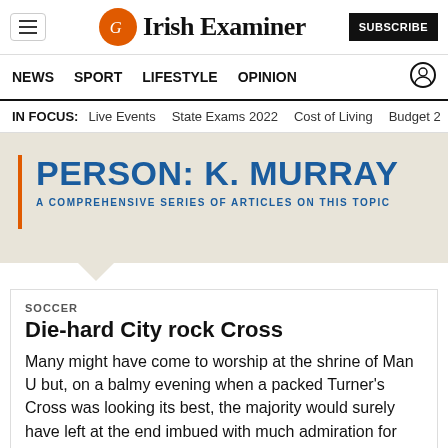Irish Examiner
NEWS SPORT LIFESTYLE OPINION
IN FOCUS: Live Events State Exams 2022 Cost of Living Budget 2...
PERSON: K. MURRAY
A COMPREHENSIVE SERIES OF ARTICLES ON THIS TOPIC
SOCCER
Die-hard City rock Cross
Many might have come to worship at the shrine of Man U but, on a balmy evening when a packed Turner's Cross was looking its best, the majority would surely have left at the end imbued with much admiration for Tommy Dunne, his players and what Cork City football